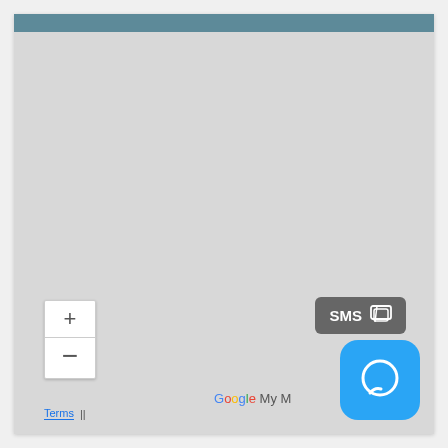[Figure (screenshot): Google Maps / Google My Maps interface showing a light grey map area with a teal/steel-blue top navigation bar, zoom in (+) and zoom out (-) controls at the bottom left, a 'Terms' link and separator at the bottom left footer, a 'Google My Maps' watermark text at the bottom center, an SMS button overlay at the bottom right, and a blue rounded-square chat/messaging app icon at the bottom right corner.]